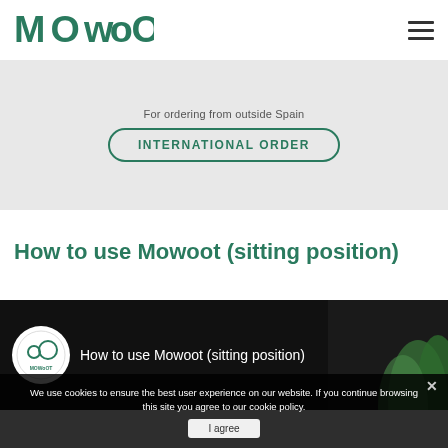[Figure (logo): MOWOOT logo in teal/green color]
For ordering from outside Spain
INTERNATIONAL ORDER
How to use Mowoot (sitting position)
[Figure (screenshot): YouTube video embed showing 'How to use Mowoot (sitting position)' with Mowoot logo and three-dot menu]
We use cookies to ensure the best user experience on our website. If you continue browsing this site you agree to our cookie policy.
I agree